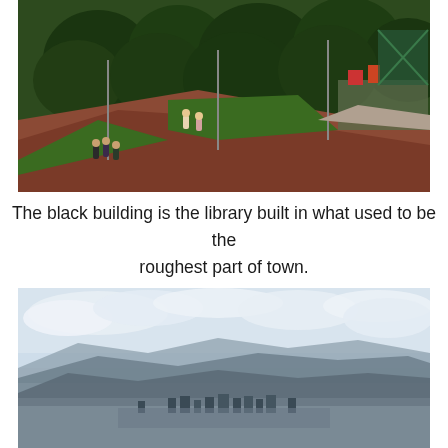[Figure (photo): Aerial/elevated view of a park or plaza area with trees, walkways, and a few people visible from above. Reddish-brown pavement paths, green lawn areas, street lamps, and some colorful structures in the upper right corner.]
The black building is the library built in what used to be the roughest part of town.
[Figure (photo): Panoramic cityscape view from a high vantage point showing a city spread across a valley, surrounded by mountains. Cloudy sky above, city lights and buildings visible in the distance.]